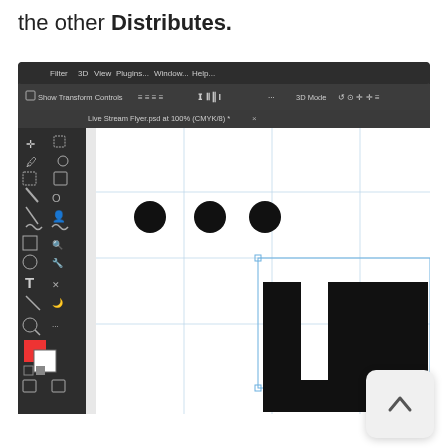the other Distributes.
[Figure (screenshot): Photoshop interface screenshot showing a canvas with three black circles arranged horizontally in the upper area and large bold black text 'LIV' visible in the lower right of the canvas. The toolbar is visible on the left, and the top bar shows 'Show Transform Controls' and alignment options. The filename tab reads 'Live Stream Flyer.psd at 100% (CMYK/8)'.]